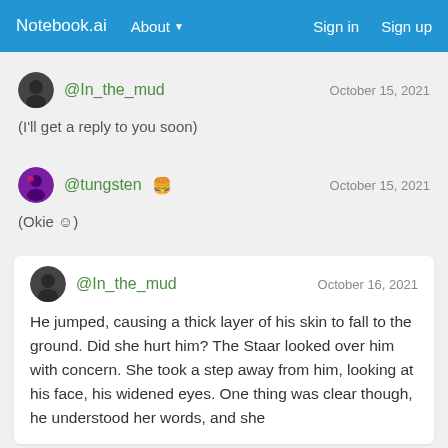Notebook.ai | About | Sign in | Sign up
@In_the_mud — October 15, 2021
(I'll get a reply to you soon)
@tungsten 🍔 — October 15, 2021
(Okie ☺️)
@In_the_mud — October 16, 2021
He jumped, causing a thick layer of his skin to fall to the ground. Did she hurt him? The Staar looked over him with concern. She took a step away from him, looking at his face, his widened eyes. One thing was clear though, he understood her words, and she